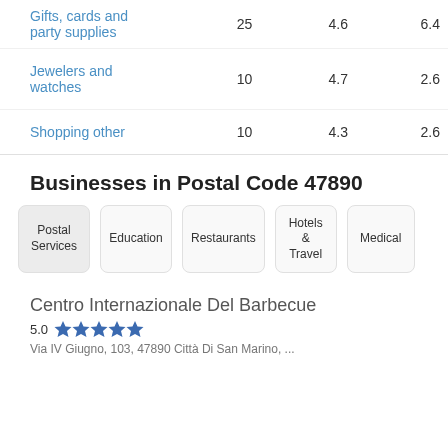| Category | Count | Rating | Value |
| --- | --- | --- | --- |
| Gifts, cards and party supplies | 25 | 4.6 | 6.4 |
| Jewelers and watches | 10 | 4.7 | 2.6 |
| Shopping other | 10 | 4.3 | 2.6 |
Businesses in Postal Code 47890
Postal Services
Education
Restaurants
Hotels & Travel
Medical
Centro Internazionale Del Barbecue
5.0 ★★★★★
Via IV Giugno, 103, 47890 Città Di San Marino, ...